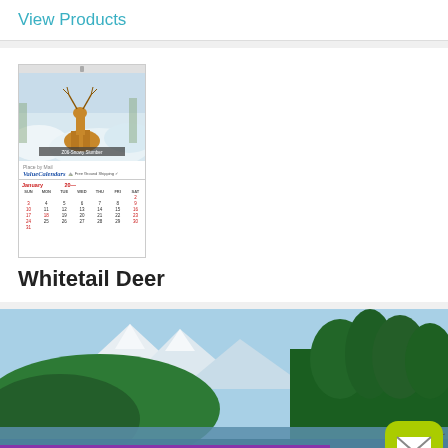View Products
[Figure (photo): Whitetail Deer wall calendar product image showing a deer in snowy scene with a January calendar grid below and ValueCalendars branding]
Whitetail Deer
[Figure (photo): Promotional banner showing a mountain lake forest scene with text BRING THE OUTDOORS INSIDE THE OFFICE on a purple bar, a cartoon frog fishing, and a green email button]